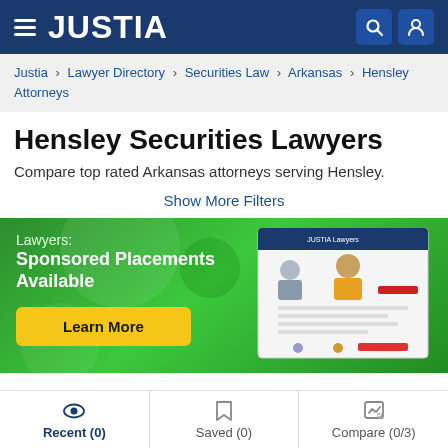JUSTIA
Justia > Lawyer Directory > Securities Law > Arkansas > Hensley Attorneys
Hensley Securities Lawyers
Compare top rated Arkansas attorneys serving Hensley.
Show More Filters
[Figure (infographic): Green promotional banner with text 'Lawyers: Sponsored Placements Available', a yellow 'Learn More' button, and an illustration of a Justia Lawyers webpage with attorney profile figures.]
Recent (0) | Saved (0) | Compare (0/3)